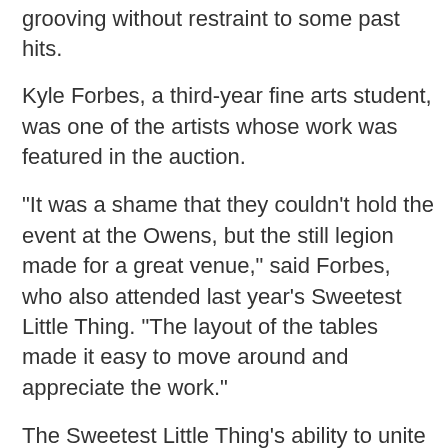grooving without restraint to some past hits.
Kyle Forbes, a third-year fine arts student, was one of the artists whose work was featured in the auction.
“It was a shame that they couldn’t hold the event at the Owens, but the still legion made for a great venue,” said Forbes, who also attended last year’s Sweetest Little Thing. “The layout of the tables made it easy to move around and appreciate the work.”
The Sweetest Little Thing’s ability to unite an entire community truly makes the event an important staple for the Sackville art community. Yet, while the event is obviously art-centric, it provides an opportunity for students and individuals from all backgrounds to gather, celebrate, and show off their best outfits in an informal fashion for a holiday that can often be quite stressful for some of us.
Leave a Reply